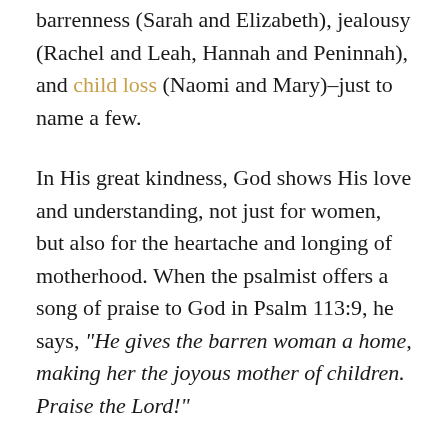barrenness (Sarah and Elizabeth), jealousy (Rachel and Leah, Hannah and Peninnah), and child loss (Naomi and Mary)–just to name a few.
In His great kindness, God shows His love and understanding, not just for women, but also for the heartache and longing of motherhood. When the psalmist offers a song of praise to God in Psalm 113:9, he says, "He gives the barren woman a home, making her the joyous mother of children. Praise the Lord!"
In an effort to prove God is worthy of all praise, this is the character trait Psalm 113 highlights. God is kind to the heartbroken